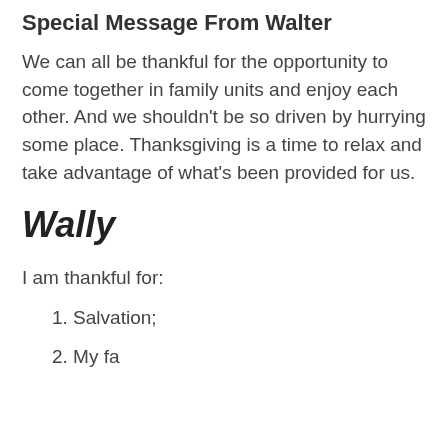Special Message From Walter
We can all be thankful for the opportunity to come together in family units and enjoy each other. And we shouldn’t be so driven by hurrying some place. Thanksgiving is a time to relax and take advantage of what’s been provided for us.
Wally
I am thankful for:
1. Salvation;
2. My family...